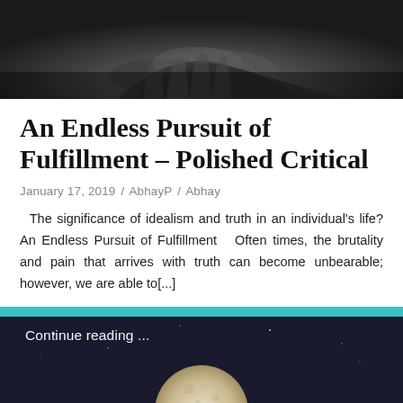[Figure (photo): Black and white photo of praying hands close-up, dark background]
An Endless Pursuit of Fulfillment – Polished Critical
January 17, 2019 / AbhayP / Abhay
The significance of idealism and truth in an individual's life? An Endless Pursuit of Fulfillment   Often times, the brutality and pain that arrives with truth can become unbearable; however, we are able to[...]
Continue reading ...
[Figure (photo): Dark night sky with a moon visible at the bottom, dark navy background]